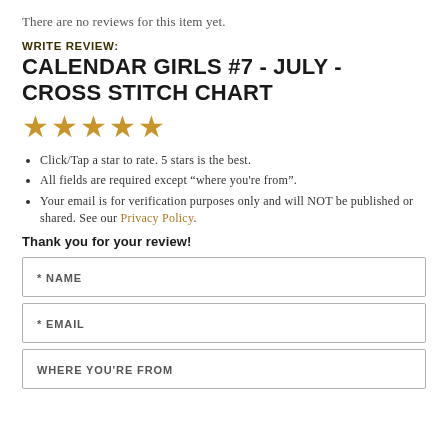There are no reviews for this item yet.
WRITE REVIEW:
CALENDAR GIRLS #7 - JULY - CROSS STITCH CHART
[Figure (other): Five gold star rating icons]
Click/Tap a star to rate. 5 stars is the best.
All fields are required except "where you're from".
Your email is for verification purposes only and will NOT be published or shared. See our Privacy Policy.
Thank you for your review!
* NAME
* EMAIL
WHERE YOU'RE FROM